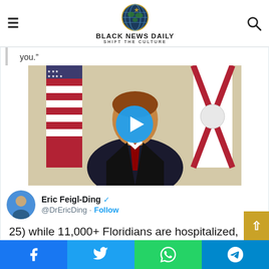BLACK NEWS DAILY — SHIFT THE CULTURE
you.”
[Figure (photo): Video thumbnail showing a man in a suit with US and Florida state flags; blue circular play button overlay. Part of a tweet embed from @DrEricDing (Eric Feigl-Ding).]
Eric Feigl-Ding ✓ @DrEricDing · Follow
25) while 11,000+ Floridians are hospitalized, Florida’s Governor goes
Facebook | Twitter | WhatsApp | Telegram